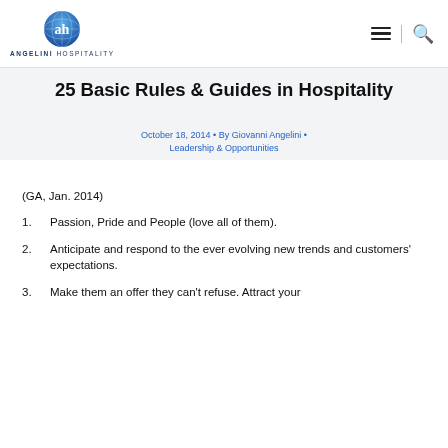ANGELINI HOSPITALITY
25 Basic Rules & Guides in Hospitality
October 18, 2014 • By Giovanni Angelini • Leadership & Opportunities
(GA, Jan. 2014)
1. Passion, Pride and People (love all of them).
2. Anticipate and respond to the ever evolving new trends and customers' expectations.
3. Make them an offer they can't refuse. Attract your